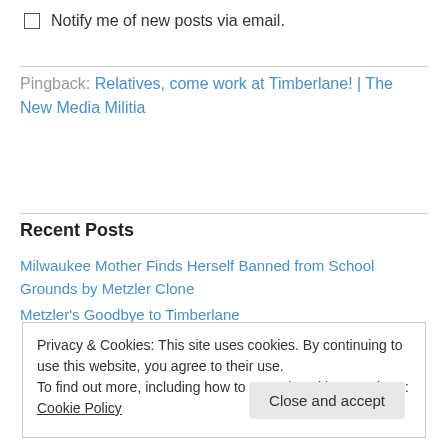Notify me of new posts via email.
Pingback: Relatives, come work at Timberlane! | The New Media Militia
Recent Posts
Milwaukee Mother Finds Herself Banned from School Grounds by Metzler Clone
Metzler's Goodbye to Timberlane
Privacy & Cookies: This site uses cookies. By continuing to use this website, you agree to their use.
To find out more, including how to control cookies, see here: Cookie Policy